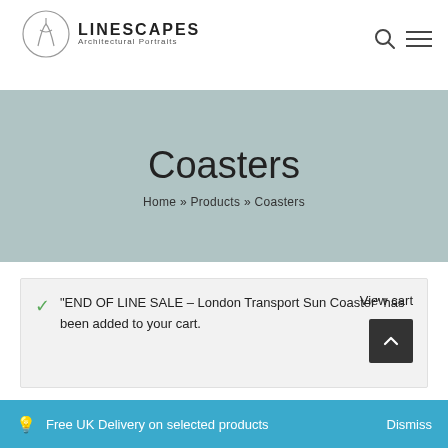[Figure (logo): Linescapes Architectural Portraits logo with circular line-art icon and text]
Coasters
Home » Products » Coasters
"END OF LINE SALE – London Transport Sun Coaster" has been added to your cart.
View cart
Free UK Delivery on selected products Dismiss